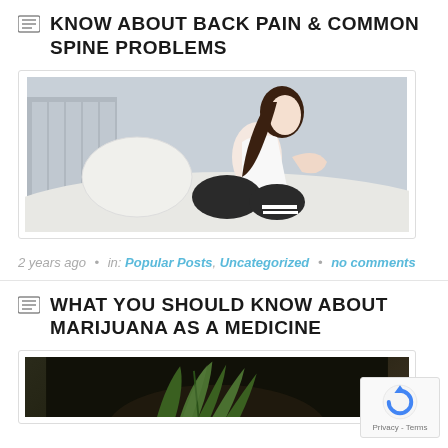KNOW ABOUT BACK PAIN & COMMON SPINE PROBLEMS
[Figure (photo): Woman in white tank top and black pants sitting on a bed holding her lower back in pain]
2 years ago • in: Popular Posts, Uncategorized • no comments
WHAT YOU SHOULD KNOW ABOUT MARIJUANA AS A MEDICINE
[Figure (photo): Dark background image with green plant leaves, likely marijuana plant]